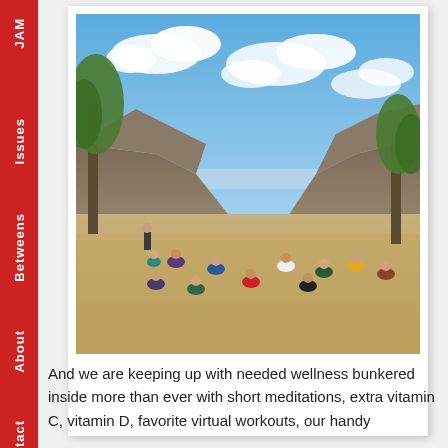JAM
Issues
Betweens
About
Contact
[Figure (photo): Outdoor class or group activity with people sitting spread out on dry grass in a desert landscape with mountains in the background and blue sky with white clouds. Trees visible on the left and right sides.]
And we are keeping up with needed wellness bunkered inside more than ever with short meditations, extra vitamin C, vitamin D, favorite virtual workouts, our handy